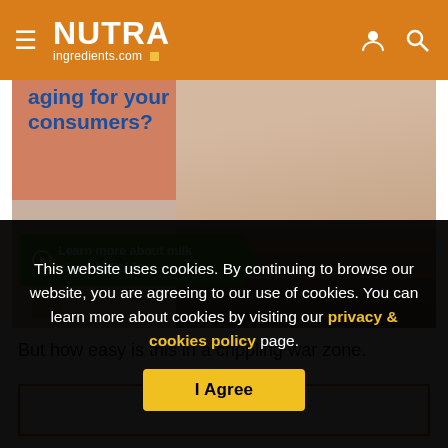NUTRA ingredients.com
[Figure (photo): Advertisement image showing elderly person at a table with text 'aging for your consumers?' and a green button 'Learn more about milk phospholipids.']
But how easy is this in a crippling war zone.
This website uses cookies. By continuing to browse our website, you are agreeing to our use of cookies. You can learn more about cookies by visiting our privacy & cookies policy page.